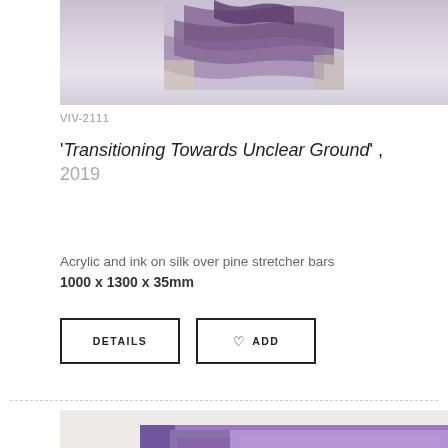[Figure (photo): Top portion of a purple/violet artwork on silk over pine stretcher bars, showing textured paint and fabric edges against a light grey background]
VIV-2111
'Transitioning Towards Unclear Ground', 2019
Acrylic and ink on silk over pine stretcher bars
1000 x 1300 x 35mm
[Figure (screenshot): DETAILS button — rectangular outlined button with text DETAILS]
[Figure (screenshot): ADD button — rectangular outlined button with heart icon and text ADD]
[Figure (photo): Bottom portion showing a second view of a purple/violet artwork — a bold purple/lavender rectangle against cream wall, with visible stretcher bar corner and drips of purple paint]